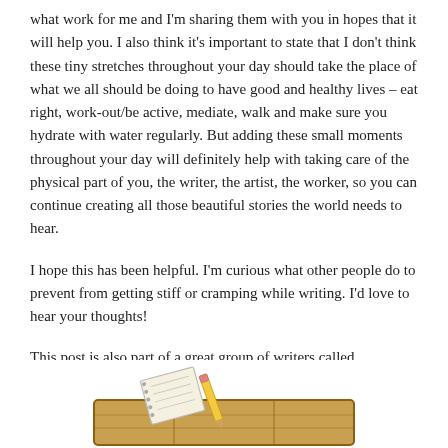what work for me and I'm sharing them with you in hopes that it will help you.  I also think it's important to state that I don't think these tiny stretches throughout your day should take the place of what we all should be doing to have good and healthy lives – eat right, work-out/be active, mediate, walk and make sure you hydrate with water regularly.  But adding these small moments throughout your day will definitely help with taking care of the physical part of you, the writer, the artist, the worker, so you can continue creating all those beautiful stories the world needs to hear.
I hope this has been helpful. I'm curious what other people do to prevent from getting stiff or cramping while writing.  I'd love to hear your thoughts!
This post is also part of a great group of writers called #AuthorToolboxBlogHop  – please click on this hashtag or the pic to find other great sources of tips and tricks that other great writers use to keep on creating…
[Figure (illustration): Partial image of what appears to be a wooden toolbox or crate with a notepad and pencil, shown at the bottom of the page]